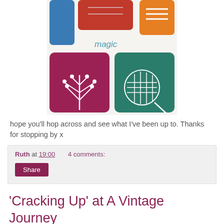[Figure (photo): Close-up photo of decorative resin tiles with colorful patterns — blue, red/pink, teal/green — featuring white botanical and geometric stamp designs, with the word 'magic' visible in teal text on a white background area.]
hope you'll hop across and see what I've been up to. Thanks for stopping by x
Ruth at 19:00   4 comments:
Share
'Cracking Up' at A Vintage Journey